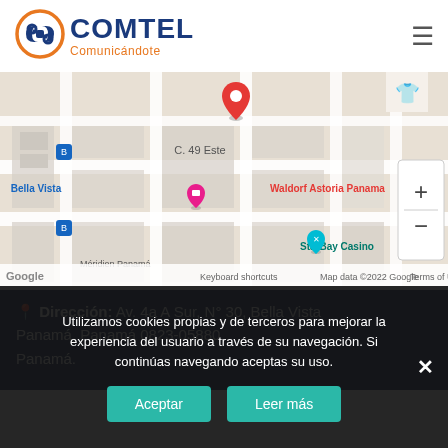[Figure (logo): COMTEL logo with circular icon in blue and orange, text 'COMTEL' in dark blue and 'Comunicándote' in orange]
[Figure (map): Google Maps screenshot showing Bella Vista area of Panama City, with red location pin near Waldorf Astoria Panama, showing streets including C. 49 Este, nearby landmarks StarBay Casino and Le Méridien Panama, with zoom controls on the right]
📍 Dirección: Av. 4a A Sur, N° 30, Bella Vista Panamá, Panamá 0823-05880 Panamá.
Utilizamos cookies propias y de terceros para mejorar la experiencia del usuario a través de su navegación. Si continúas navegando aceptas su uso.